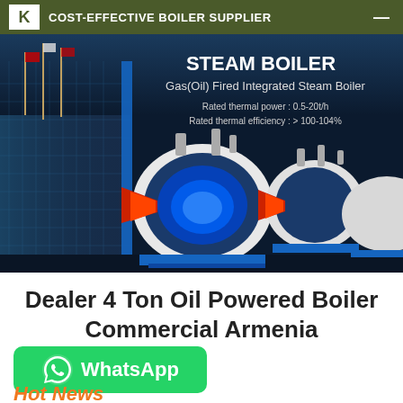COST-EFFECTIVE BOILER SUPPLIER
[Figure (photo): Banner showing industrial steam boilers — Gas(Oil) Fired Integrated Steam Boiler products with text: STEAM BOILER, Gas(Oil) Fired Integrated Steam Boiler, Rated thermal power: 0.5-20t/h, Rated thermal efficiency: > 100-104%. Building with flags visible on the left side.]
Dealer 4 Ton Oil Powered Boiler Commercial Armenia
[Figure (infographic): WhatsApp contact button with phone icon and WhatsApp label]
Hot News